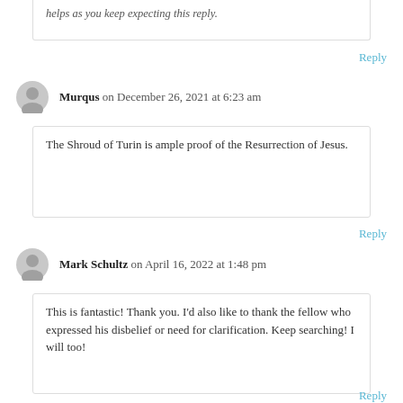helps as you keep expecting this reply.
Reply
Murqus on December 26, 2021 at 6:23 am
The Shroud of Turin is ample proof of the Resurrection of Jesus.
Reply
Mark Schultz on April 16, 2022 at 1:48 pm
This is fantastic! Thank you. I'd also like to thank the fellow who expressed his disbelief or need for clarification. Keep searching! I will too!
Reply